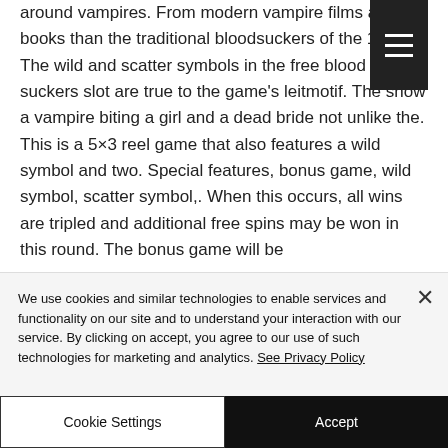around vampires. From modern vampire films and books than the traditional bloodsuckers of the 1800's. The wild and scatter symbols in the free blood suckers slot are true to the game's leitmotif. The show a vampire biting a girl and a dead bride not unlike the. This is a 5×3 reel game that also features a wild symbol and two. Special features, bonus game, wild symbol, scatter symbol,. When this occurs, all wins are tripled and additional free spins may be won in this round. The bonus game will be
[Figure (other): Hamburger menu icon button (three horizontal white lines on dark background)]
We use cookies and similar technologies to enable services and functionality on our site and to understand your interaction with our service. By clicking on accept, you agree to our use of such technologies for marketing and analytics. See Privacy Policy